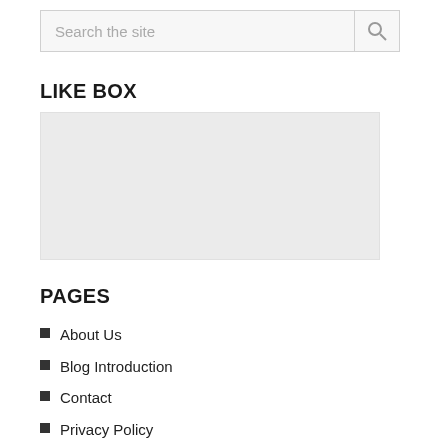Search the site
LIKE BOX
[Figure (other): Empty light gray box representing a Facebook Like Box widget placeholder]
PAGES
About Us
Blog Introduction
Contact
Privacy Policy
Recycling week with Flowers24hours.co.uk!